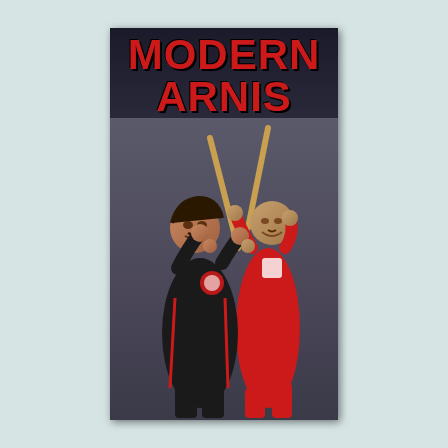[Figure (photo): Book cover for 'Modern Arnis: The Filipino Art of Stick Fighting'. Shows two martial artists in a stick-fighting pose — one in a black uniform with red trim holding a stick, and one in a red uniform holding two sticks, engaged in a sparring demonstration against a dark grey background. The title 'MODERN ARNIS' appears in large red Impact-style lettering at the top, with subtitle 'THE FILIPINO ART OF STICK FIGHTING' in white below.]